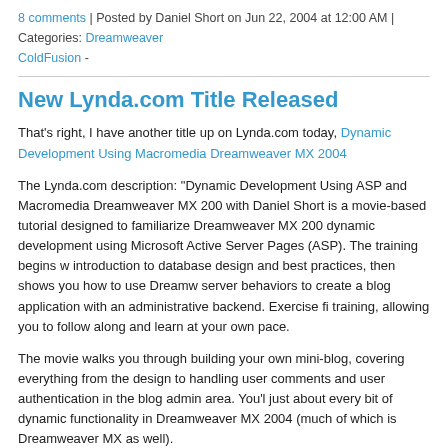8 comments | Posted by Daniel Short on Jun 22, 2004 at 12:00 AM | Categories: Dreamweaver ColdFusion -
New Lynda.com Title Released
That's right, I have another title up on Lynda.com today, Dynamic Development Using Macromedia Dreamweaver MX 2004
The Lynda.com description: "Dynamic Development Using ASP and Macromedia Dreamweaver MX 2004 with Daniel Short is a movie-based tutorial designed to familiarize Dreamweaver MX 2004 users with dynamic development using Microsoft Active Server Pages (ASP). The training begins with an introduction to database design and best practices, then shows you how to use Dreamweaver's server behaviors to create a blog application with an administrative backend. Exercise files accompany the training, allowing you to follow along and learn at your own pace.
The movie walks you through building your own mini-blog, covering everything from the initial design to handling user comments and user authentication in the blog admin area. You'll cover just about every bit of dynamic functionality in Dreamweaver MX 2004 (much of which is also in Dreamweaver MX as well).
Check out the samples online and let me know what you think.
6 comments | Posted by Daniel Short on Jun 19, 2004 at 12:00 AM | Categories: Dreamweaver Development - VBScript -